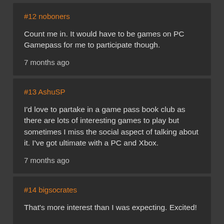#12 noboners
Count me in. It would have to be games on PC Gamepass for me to participate though.
7 months ago
#13 AshuSP
I'd love to partake in a game pass book club as there are lots of interesting games to play but sometimes I miss the social aspect of talking about it. I've got ultimate with a PC and Xbox.
7 months ago
#14 bigsocrates
That's more interest than I was expecting. Excited!